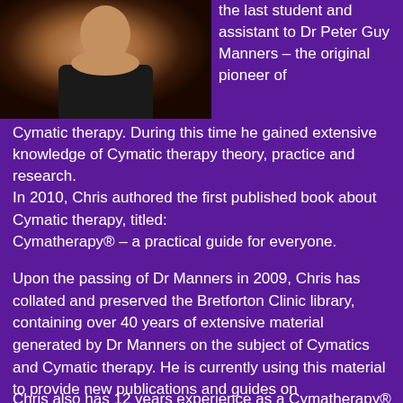[Figure (photo): Portrait photo of a person in a black top, upper body visible, on a purple background]
the last student and assistant to Dr Peter Guy Manners – the original pioneer of Cymatic therapy. During this time he gained extensive knowledge of Cymatic therapy theory, practice and research.
In 2010, Chris authored the first published book about Cymatic therapy, titled:
Cymatherapy® – a practical guide for everyone.
Upon the passing of Dr Manners in 2009, Chris has collated and preserved the Bretforton Clinic library, containing over 40 years of extensive material generated by Dr Manners on the subject of Cymatics and Cymatic therapy. He is currently using this material to provide new publications and guides on Cymatherapy® theory and practice.
Chris also has 12 years experience as a Cymatherapy®